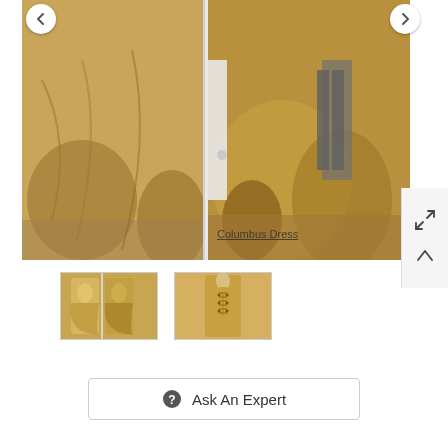[Figure (photo): Large photo of a gold/champagne prom dress shown from two angles (front and mirror reflection) on a person, with 'Columbus Dress' watermark text visible in lower right. Navigation arrows on left and right.]
[Figure (photo): Thumbnail 1: Front view of two women wearing a gold/champagne long dress]
[Figure (photo): Thumbnail 2: Back view of a gold/champagne dress on a mannequin showing lace-up corset back detail]
Ask An Expert